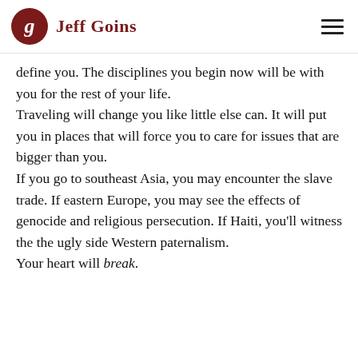Jeff Goins
define you. The disciplines you begin now will be with you for the rest of your life.
Traveling will change you like little else can. It will put you in places that will force you to care for issues that are bigger than you.
If you go to southeast Asia, you may encounter the slave trade. If eastern Europe, you may see the effects of genocide and religious persecution. If Haiti, you'll witness the the ugly side Western paternalism.
Your heart will break.